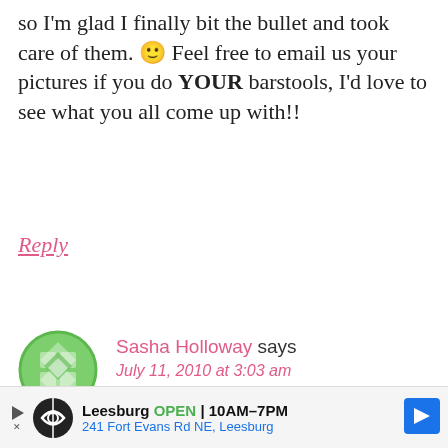so I'm glad I finally bit the bullet and took care of them. 🙂 Feel free to email us your pictures if you do YOUR barstools, I'd love to see what you all come up with!!
Reply
[Figure (illustration): Green avatar icon with geometric diamond pattern]
Sasha Holloway says
July 11, 2010 at 3:03 am
I love it .. I just jazzed up a desk I got from IKEA .. and girl that mod podge is the BOMB ..
Leesburg OPEN 10AM–7PM 241 Fort Evans Rd NE, Leesburg